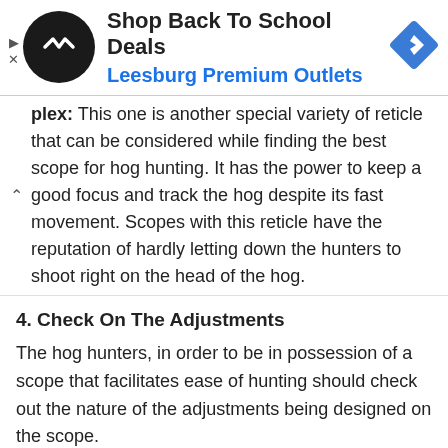[Figure (other): Advertisement banner: Shop Back To School Deals - Leesburg Premium Outlets, with logo and navigation icon]
plex: This one is another special variety of reticle that can be considered while finding the best scope for hog hunting. It has the power to keep a good focus and track the hog despite its fast movement. Scopes with this reticle have the reputation of hardly letting down the hunters to shoot right on the head of the hog.
4. Check On The Adjustments
The hog hunters, in order to be in possession of a scope that facilitates ease of hunting should check out the nature of the adjustments being designed on the scope.
In most of the modern models of scopes the adjustments are made flexible enough for easy handling with just the means of fingers. These adjustment techniques are implanted with planned maneuvers to give free and easy adjusting modes that would lead on to effortless hunting.
MOA click based wind and height adjustment techniques are